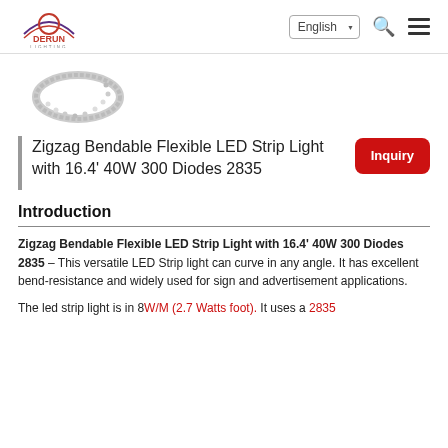DERUN LIGHTING | English
[Figure (photo): Thumbnail image of a zigzag bendable flexible LED strip light, showing the strip curled with visible LEDs on a white background]
Zigzag Bendable Flexible LED Strip Light with 16.4' 40W 300 Diodes 2835
Introduction
Zigzag Bendable Flexible LED Strip Light with 16.4' 40W 300 Diodes 2835 – This versatile LED Strip light can curve in any angle. It has excellent bend-resistance and widely used for sign and advertisement applications.
The led strip light is in 8W/M (2.7 Watts foot). It uses a 2835 LED Strip...